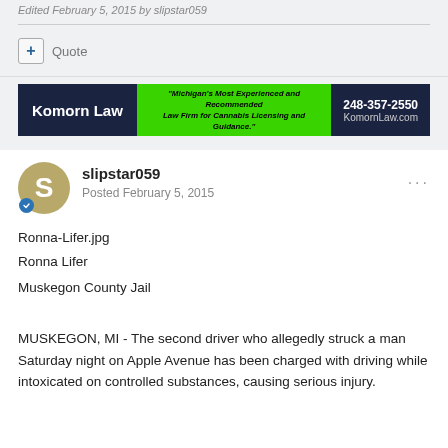Edited February 5, 2015 by slipstar059
[Figure (other): Quote button with plus icon]
[Figure (other): Komorn Law advertisement banner: Michigan's Most Experienced and Recommended Law Firm for Cannabis Licensing and Guidance. 248-357-2550 KomornLaw.com]
slipstar059
Posted February 5, 2015
Ronna-Lifer.jpg
Ronna Lifer
Muskegon County Jail
MUSKEGON, MI - The second driver who allegedly struck a man Saturday night on Apple Avenue has been charged with driving while intoxicated on controlled substances, causing serious injury.